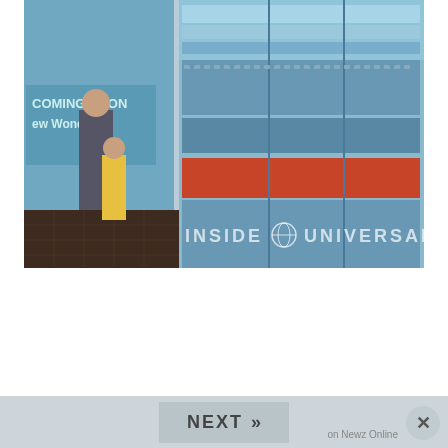[Figure (photo): Photo of large blue vending machines at what appears to be Universal Studios Japan, with people standing in front of them. Text on the left reads 'COMING SOON New Wonderla...' and an 'INSIDE UNIVERSAL' watermark appears at the bottom of the photo.]
[Figure (screenshot): Navigation bar at the bottom with a 'NEXT >>' button in the center, a close (x) button on the right, and 'on Newz Online' text.]